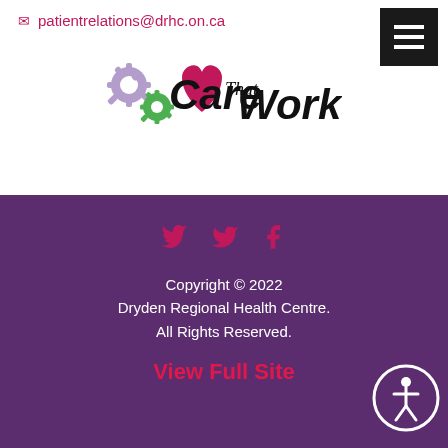patientrelations@drhc.on.ca
[Figure (logo): Care That Works logo with gears and heart]
[Figure (infographic): Social media icons: Twitter and Facebook in pink/red on purple background]
Copyright © 2022 Dryden Regional Health Centre. All Rights Reserved.
View Full Site
[Figure (other): Accessibility icon: person in circle]